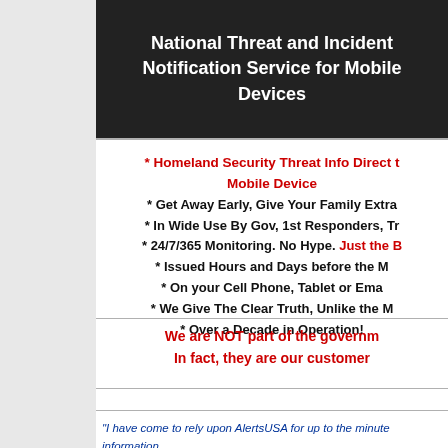National Threat and Incident Notification Service for Mobile Devices
* Homeland Security Threat Info Direct to Mobile Device
* Get Away Early, Give Your Family Extra
* In Wide Use By Gov, 1st Responders, Tr
* 24/7/365 Monitoring. No Hype. Just the B
* Issued Hours and Days before the M
* On your Cell Phone, Tablet or Ema
* We Give The Clear Truth, Unlike the M
* Over a Decade in Operation!
We are NOT part of the government. In fact, they are our customers.
“I have come to rely upon AlertsUSA for up to the minute information